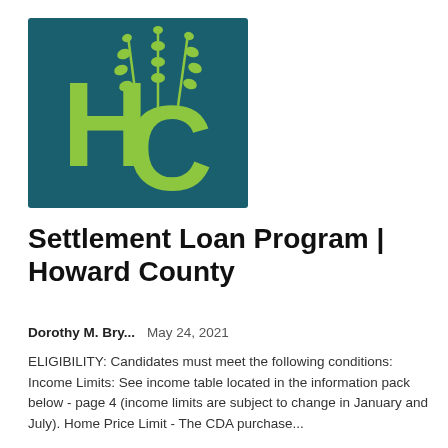[Figure (logo): Howard County logo: teal/dark blue background with large lime green letters H and C, and wheat stalks above in lime green]
Settlement Loan Program | Howard County
Dorothy M. Bry...    May 24, 2021
ELIGIBILITY: Candidates must meet the following conditions: Income Limits: See income table located in the information pack below - page 4 (income limits are subject to change in January and July). Home Price Limit - The CDA purchase...
[Figure (screenshot): Partial thumbnail image at bottom, light gray placeholder]